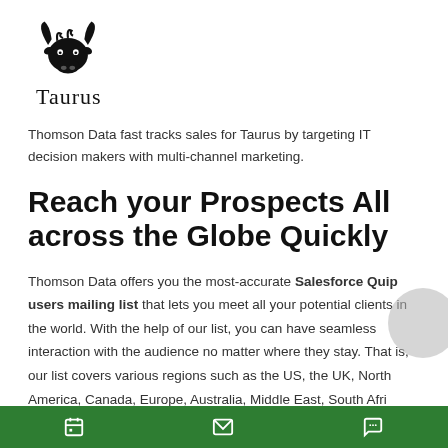[Figure (logo): Taurus bull head logo icon in black, with the word 'Taurus' in serif font below it]
Thomson Data fast tracks sales for Taurus by targeting IT decision makers with multi-channel marketing.
Reach your Prospects All across the Globe Quickly
Thomson Data offers you the most-accurate Salesforce Quip users mailing list that lets you meet all your potential clients in the world. With the help of our list, you can have seamless interaction with the audience no matter where they stay. That is, our list covers various regions such as the US, the UK, North America, Canada, Europe, Australia, Middle East, South Africa,
Footer navigation bar with calendar, mail, and chat icons